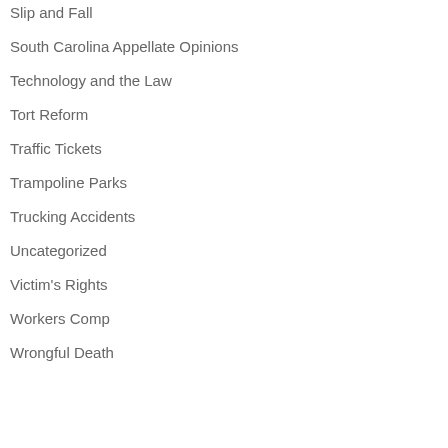Slip and Fall
South Carolina Appellate Opinions
Technology and the Law
Tort Reform
Traffic Tickets
Trampoline Parks
Trucking Accidents
Uncategorized
Victim's Rights
Workers Comp
Wrongful Death